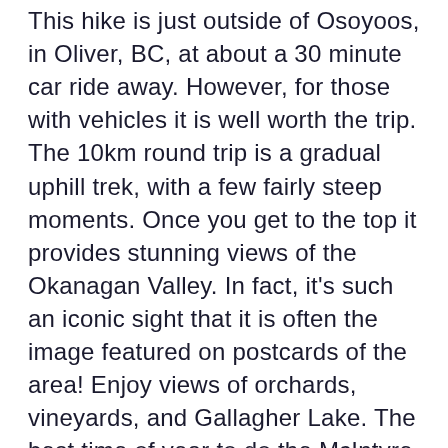This hike is just outside of Osoyoos, in Oliver, BC, at about a 30 minute car ride away. However, for those with vehicles it is well worth the trip. The 10km round trip is a gradual uphill trek, with a few fairly steep moments. Once you get to the top it provides stunning views of the Okanagan Valley. In fact, it's such an iconic sight that it is often the image featured on postcards of the area! Enjoy views of orchards, vineyards, and Gallagher Lake. The best time of year to do the McIntyre Bluff hike is in late spring or early summer when the wildflowers are in full bloom. Be mindful of the fact that the Okanagan gets quite hot and dry in the summer months, and there is very little shade on the hike up. Brings lots of water and do it at a pace that is most comfortable to you and your group. Additionally, many choose to hike this trail as well!